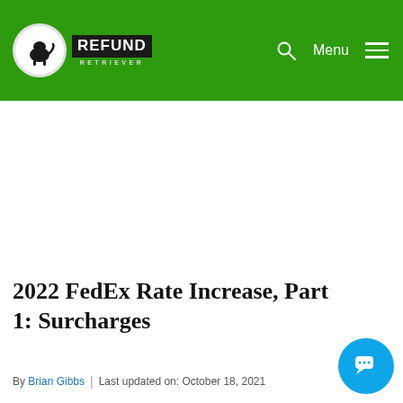REFUND RETRIEVER — Menu
2022 FedEx Rate Increase, Part 1: Surcharges
By Brian Gibbs | Last updated on: October 18, 2021